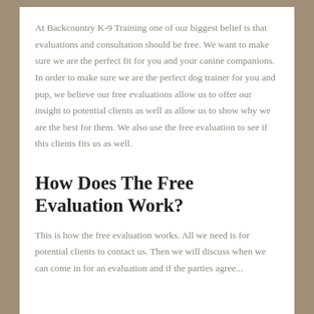At Backcountry K-9 Training one of our biggest belief is that evaluations and consultation should be free. We want to make sure we are the perfect fit for you and your canine companions.  In order to make sure we are the perfect dog trainer for you and pup, we believe our free evaluations allow us to offer our insight to potential clients as well as allow us to show why we are the best for them. We also use the free evaluation to see if this clients fits us as well.
How Does The Free Evaluation Work?
This is how the free evaluation works. All we need is for potential clients to contact us. Then we will discuss when we can come in for an evaluation and if the parties agree...